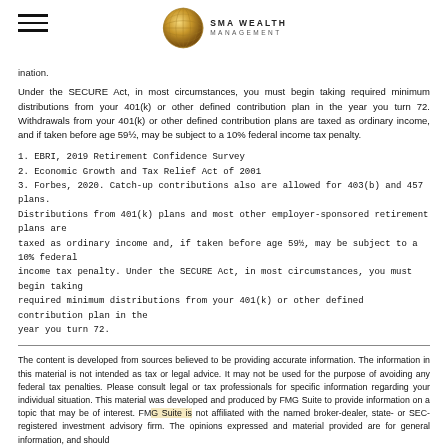SMA WEALTH MANAGEMENT
ination.
Under the SECURE Act, in most circumstances, you must begin taking required minimum distributions from your 401(k) or other defined contribution plan in the year you turn 72. Withdrawals from your 401(k) or other defined contribution plans are taxed as ordinary income, and if taken before age 59½, may be subject to a 10% federal income tax penalty.
1. EBRI, 2019 Retirement Confidence Survey
2. Economic Growth and Tax Relief Act of 2001
3. Forbes, 2020. Catch-up contributions also are allowed for 403(b) and 457 plans. Distributions from 401(k) plans and most other employer-sponsored retirement plans are taxed as ordinary income and, if taken before age 59½, may be subject to a 10% federal income tax penalty. Under the SECURE Act, in most circumstances, you must begin taking required minimum distributions from your 401(k) or other defined contribution plan in the year you turn 72.
The content is developed from sources believed to be providing accurate information. The information in this material is not intended as tax or legal advice. It may not be used for the purpose of avoiding any federal tax penalties. Please consult legal or tax professionals for specific information regarding your individual situation. This material was developed and produced by FMG Suite to provide information on a topic that may be of interest. FMG Suite is not affiliated with the named broker-dealer, state- or SEC-registered investment advisory firm. The opinions expressed and material provided are for general information, and should